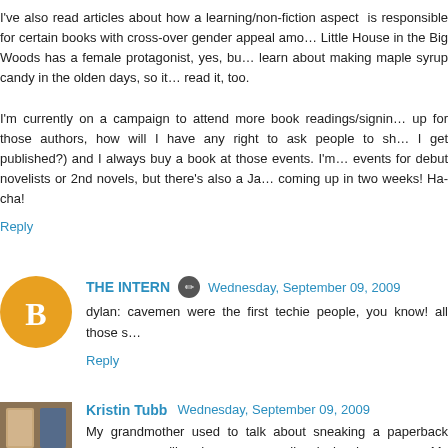I've also read articles about how a learning/non-fiction aspect is responsible for certain books with cross-over gender appeal amo... Little House in the Big Woods has a female protagonist, yes, bu... learn about making maple syrup candy in the olden days, so it... read it, too.
I'm currently on a campaign to attend more book readings/signin... up for those authors, how will I have any right to ask people to sh... I get published?) and I always buy a book at those events. I'm... events for debut novelists or 2nd novels, but there's also a Ja... coming up in two weeks! Ha-cha!
Reply
THE INTERN  Wednesday, September 09, 2009
dylan: cavemen were the first techie people, you know! all those s...
Reply
Kristin Tubb  Wednesday, September 09, 2009
My grandmother used to talk about sneaking a paperback nove... room like she was smuggling in hard-core porn. My mother-... nonfiction, because it is "useful." I need a healthy dose of both fic... to support my tedious little neuroses. But no, gimmicky titles...